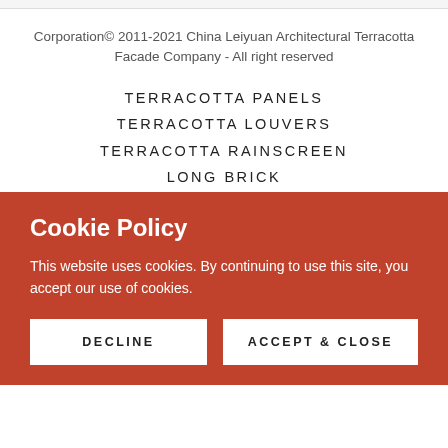Corporation© 2011-2021 China Leiyuan Architectural Terracotta Facade Company - All right reserved
TERRACOTTA PANELS
TERRACOTTA LOUVERS
TERRACOTTA RAINSCREEN
LONG BRICK
Cookie Policy
This website uses cookies. By continuing to use this site, you accept our use of cookies.
DECLINE
ACCEPT & CLOSE